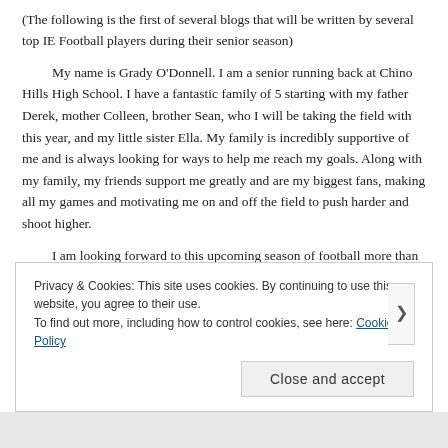(The following is the first of several blogs that will be written by several top IE Football players during their senior season)
My name is Grady O'Donnell. I am a senior running back at Chino Hills High School. I have a fantastic family of 5 starting with my father Derek, mother Colleen, brother Sean, who I will be taking the field with this year, and my little sister Ella. My family is incredibly supportive of me and is always looking for ways to help me reach my goals. Along with my family, my friends support me greatly and are my biggest fans, making all my games and motivating me on and off the field to push harder and shoot higher.
I am looking forward to this upcoming season of football more than ever before. My team and I have extremely high hopes and goals for
Privacy & Cookies: This site uses cookies. By continuing to use this website, you agree to their use.
To find out more, including how to control cookies, see here: Cookie Policy
Close and accept